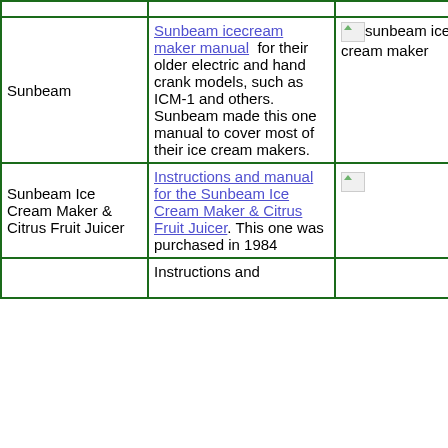| Brand/Model | Description | Image |
| --- | --- | --- |
| Sunbeam | Sunbeam icecream maker manual for their older electric and hand crank models, such as ICM-1 and others. Sunbeam made this one manual to cover most of their ice cream makers. | [sunbeam ice cream maker image] |
| Sunbeam Ice Cream Maker & Citrus Fruit Juicer | Instructions and manual for the Sunbeam Ice Cream Maker & Citrus Fruit Juicer. This one was purchased in 1984 | [image] |
|  | Instructions and... |  |